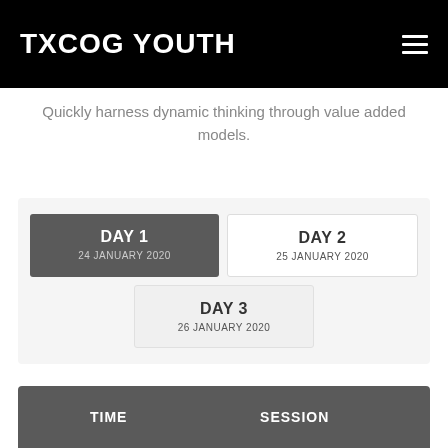TXCOG YOUTH
Quickly harness dynamic thinking through value added models.
| DAY 1 24 JANUARY 2020 | DAY 2 25 JANUARY 2020 |
| --- | --- |
| DAY 3 26 JANUARY 2020 |  |
| TIME | SESSION |
| --- | --- |